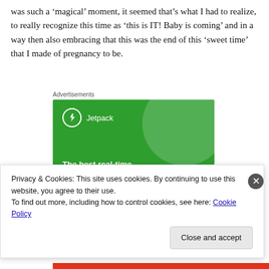was such a ‘magical’ moment, it seemed that’s what I had to realize, to really recognize this time as ‘this is IT! Baby is coming’ and in a way then also embracing that this was the end of this ‘sweet time’ that I made of pregnancy to be.
Advertisements
[Figure (screenshot): Jetpack advertisement banner: green background with Jetpack logo (lightning bolt in circle), large decorative circle in top right corner, headline text 'The best real-time WordPress backup plugin' in white bold text.]
Privacy & Cookies: This site uses cookies. By continuing to use this website, you agree to their use.
To find out more, including how to control cookies, see here: Cookie Policy
Close and accept